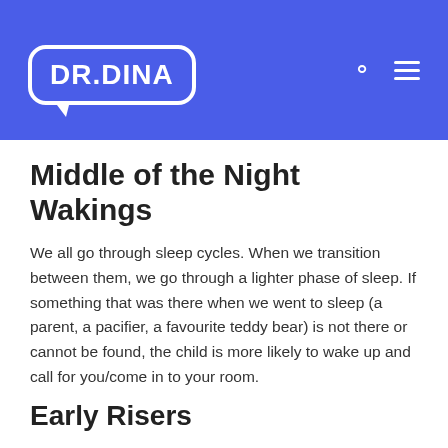DR.DINA
Middle of the Night Wakings
We all go through sleep cycles. When we transition between them, we go through a lighter phase of sleep. If something that was there when we went to sleep (a parent, a pacifier, a favourite teddy bear) is not there or cannot be found, the child is more likely to wake up and call for you/come in to your room.
Early Risers
Most people who have an early riser wish there was a solution. Unfortunately some kids are just wired that way and while there may be some room for manoeuvre, you are unlikely to be able